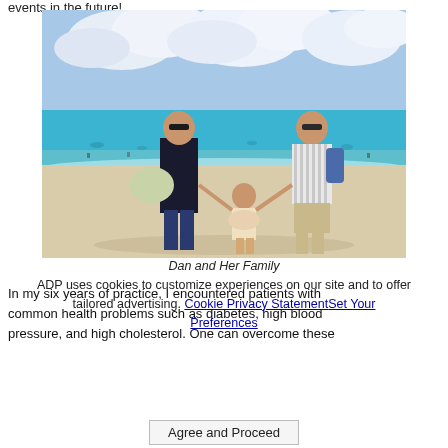events in the future!
[Figure (photo): A family of three — a woman in sunglasses and dark clothes holding a floral bag, a young girl in a floral dress, and a man in a striped shirt with sunglasses and a backpack — standing on a white sand beach with turquoise water and cloudy sky in the background.]
Dan and Her Family
ADP uses cookies to customize experiences on our site and to offer tailored advertising. Cookie Privacy Statement Set Your Preferences
In my six years of practice, I encountered patients with common health problems such as diabetes, high blood pressure, and high cholesterol. One can overcome these
Agree and Proceed